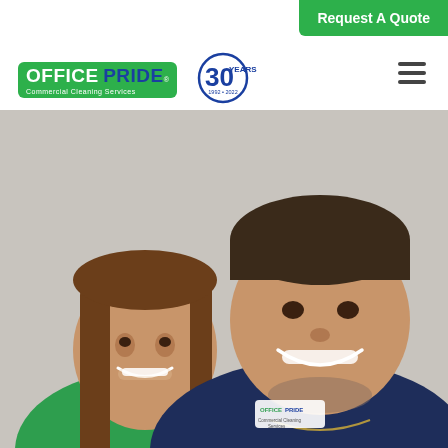[Figure (logo): Office Pride Commercial Cleaning Services logo with green background, white OFFICE text, blue PRIDE text, and tagline]
[Figure (logo): 30 Years anniversary badge, blue circle with 30 large, YEARS text, 1992-2022]
Request A Quote
[Figure (photo): A smiling man and woman. The man is wearing a navy Office Pride Commercial Cleaning Services polo shirt. The woman is wearing a green top. They are posing together for a selfie-style photo.]